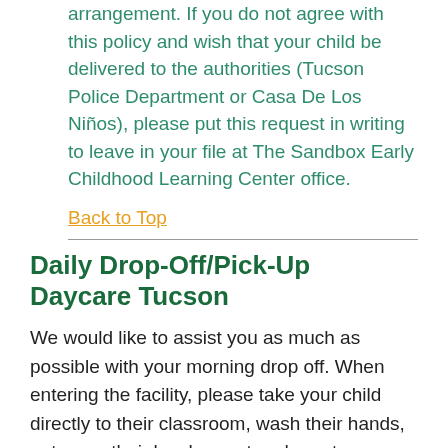arrangement. If you do not agree with this policy and wish that your child be delivered to the authorities (Tucson Police Department or Casa De Los Niños), please put this request in writing to leave in your file at The Sandbox Early Childhood Learning Center office.
Back to Top
Daily Drop-Off/Pick-Up Daycare Tucson
We would like to assist you as much as possible with your morning drop off. When entering the facility, please take your child directly to their classroom, wash their hands, put away their lunch, meet and greet your child's teacher, etc. Your child is your responsibility until you have put away their belongings and made contact with their teacher.